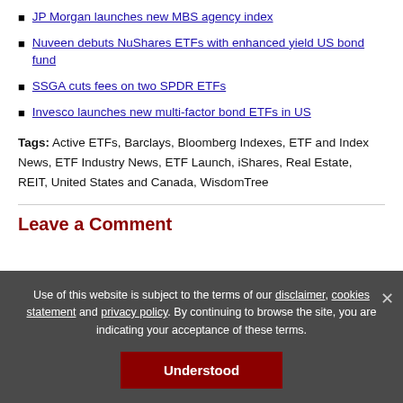JP Morgan launches new MBS agency index
Nuveen debuts NuShares ETFs with enhanced yield US bond fund
SSGA cuts fees on two SPDR ETFs
Invesco launches new multi-factor bond ETFs in US
Tags: Active ETFs, Barclays, Bloomberg Indexes, ETF and Index News, ETF Industry News, ETF Launch, iShares, Real Estate, REIT, United States and Canada, WisdomTree
Leave a Comment
Use of this website is subject to the terms of our disclaimer, cookies statement and privacy policy. By continuing to browse the site, you are indicating your acceptance of these terms.